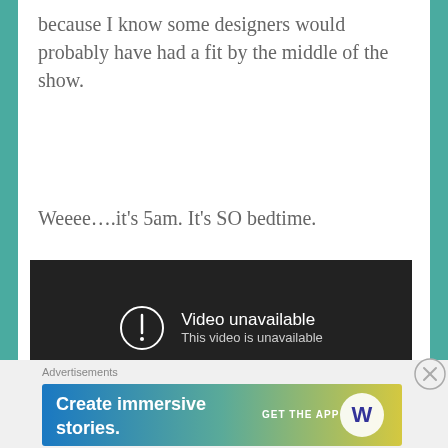because I know some designers would probably have had a fit by the middle of the show.
Weeee….it's 5am. It's SO bedtime.
[Figure (screenshot): Embedded video player showing error message: 'Video unavailable - This video is unavailable']
Advertisements
[Figure (screenshot): Advertisement banner: 'Create immersive stories. GET THE APP' with WordPress logo, gradient blue-green-yellow background]